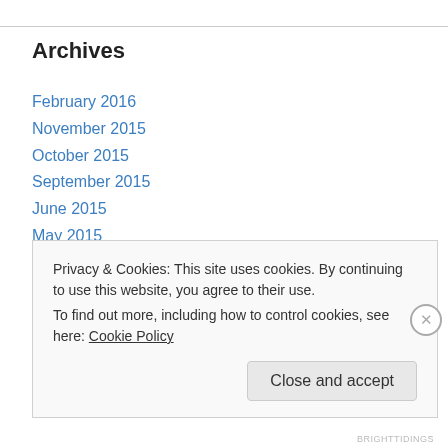Archives
February 2016
November 2015
October 2015
September 2015
June 2015
May 2015
April 2015
March 2015
February 2015
January 2015
Privacy & Cookies: This site uses cookies. By continuing to use this website, you agree to their use.
To find out more, including how to control cookies, see here: Cookie Policy
BRIGHTTIDINGS